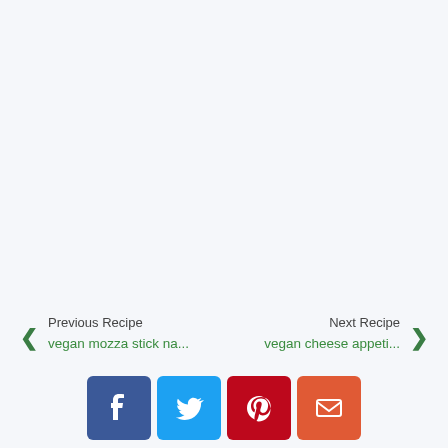[Figure (other): Large empty white/light gray area (ad placeholder or blank content area)]
Previous Recipe
vegan mozza stick na...
Next Recipe
vegan cheese appeti...
[Figure (other): Social share buttons: Facebook (blue), Twitter (light blue), Pinterest (dark red), Email (orange-red)]
you might also like
[Figure (other): Geometric hexagon pattern background (gray)]